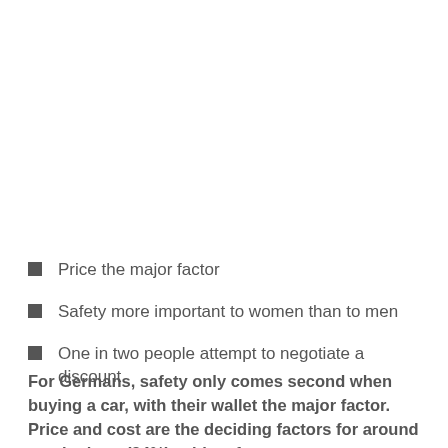Price the major factor
Safety more important to women than to men
One in two people attempt to negotiate a discount
For Germans, safety only comes second when buying a car, with their wallet the major factor. Price and cost are the deciding factors for around one in three (34%), with safety